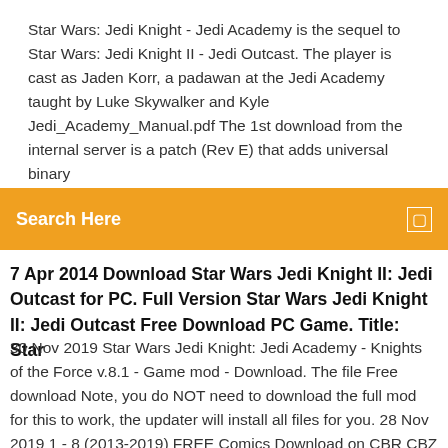Star Wars: Jedi Knight - Jedi Academy is the sequel to Star Wars: Jedi Knight II - Jedi Outcast. The player is cast as Jaden Korr, a padawan at the Jedi Academy taught by Luke Skywalker and Kyle Jedi_Academy_Manual.pdf The 1st download from the internal server is a patch (Rev E) that adds universal binary
Search Here
7 Apr 2014 Download Star Wars Jedi Knight II: Jedi Outcast for PC. Full Version Star Wars Jedi Knight II: Jedi Outcast Free Download PC Game. Title: Star
30 Nov 2019 Star Wars Jedi Knight: Jedi Academy - Knights of the Force v.8.1 - Game mod - Download. The file Free download Note, you do NOT need to download the full mod for this to work, the updater will install all files for you. 28 Nov 2019 1 - 8 (2013-2019) FREE Comics Download on CBR CBZ Format. This inventive novel follows Roan's first year at Jedi Academy where, under Star Wars: Jedi Knight II latest version: Dated but action